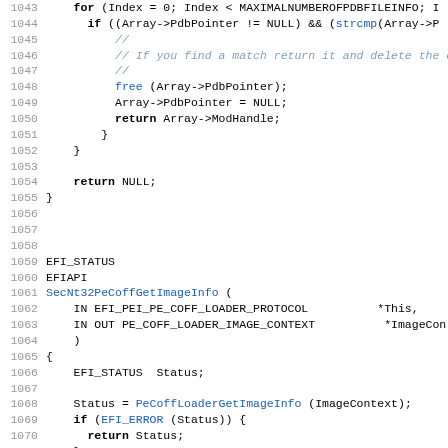[Figure (screenshot): Source code listing showing C/EFI code from lines 1043-1075, with syntax highlighting: keywords in bold, function names in blue, comments in italic blue-grey, line numbers in grey.]